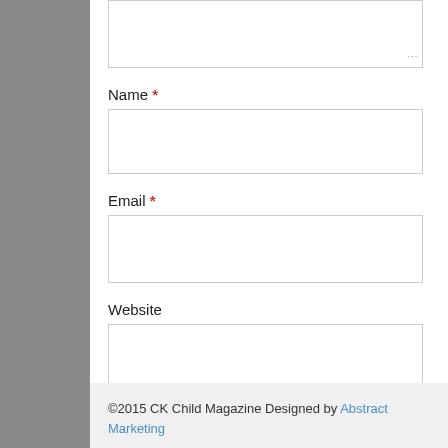Name *
Email *
Website
Post Comment
©2015 CK Child Magazine Designed by Abstract Marketing